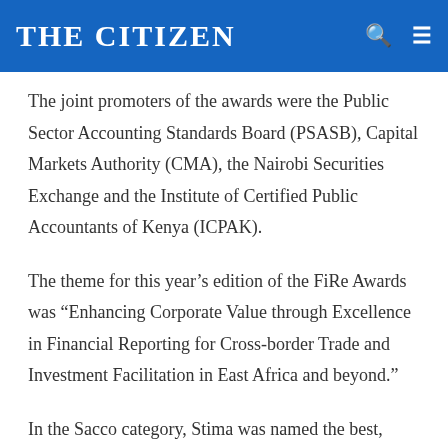THE CITIZEN
The joint promoters of the awards were the Public Sector Accounting Standards Board (PSASB), Capital Markets Authority (CMA), the Nairobi Securities Exchange and the Institute of Certified Public Accountants of Kenya (ICPAK).
The theme for this year’s edition of the FiRe Awards was “Enhancing Corporate Value through Excellence in Financial Reporting for Cross-border Trade and Investment Facilitation in East Africa and beyond.”
In the Sacco category, Stima was named the best, followed the UN and Uchumi sacco, respectively.